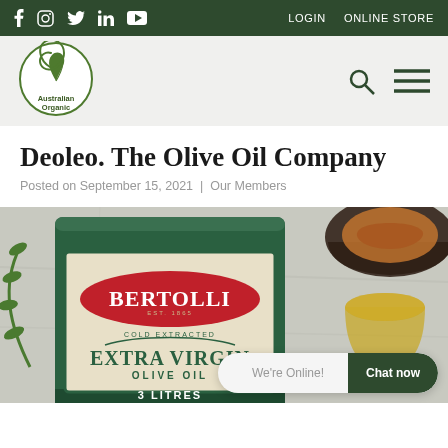f  ig  tw  in  yt  LOGIN  ONLINE STORE
[Figure (logo): Australian Organic circular logo with stylised leaf and swirl, text 'Australian Organic']
Deoleo. The Olive Oil Company
Posted on September 15, 2021 | Our Members
[Figure (photo): Bertolli Extra Virgin Olive Oil 3 Litre tin on a marble/stone surface with olive branches, bread and a glass of olive oil visible]